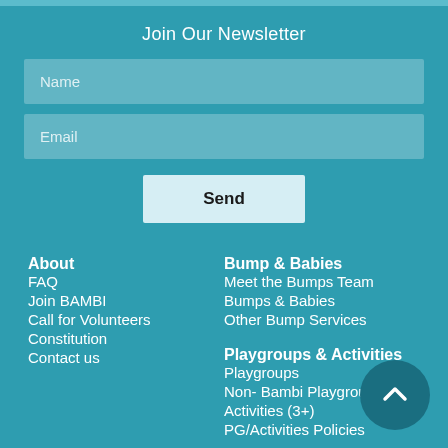Join Our Newsletter
Name
Email
Send
About
FAQ
Join BAMBI
Call for Volunteers
Constitution
Contact us
Bump & Babies
Meet the Bumps Team
Bumps & Babies
Other Bump Services
Playgroups & Activities
Playgroups
Non- Bambi Playgroups
Activities (3+)
PG/Activities Policies